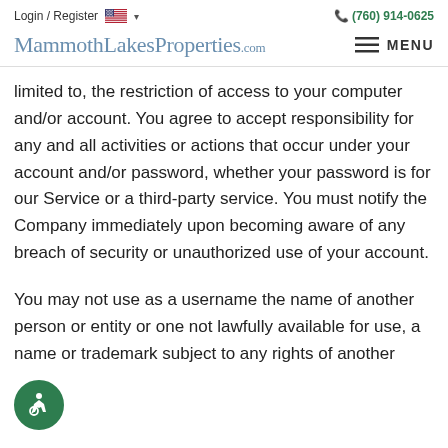Login / Register   (760) 914-0625
[Figure (logo): MammothLakesProperties.com logo with MENU hamburger button]
limited to, the restriction of access to your computer and/or account. You agree to accept responsibility for any and all activities or actions that occur under your account and/or password, whether your password is for our Service or a third-party service. You must notify the Company immediately upon becoming aware of any breach of security or unauthorized use of your account.
You may not use as a username the name of another person or entity or one not lawfully available for use, a name or trademark subject to any rights of another